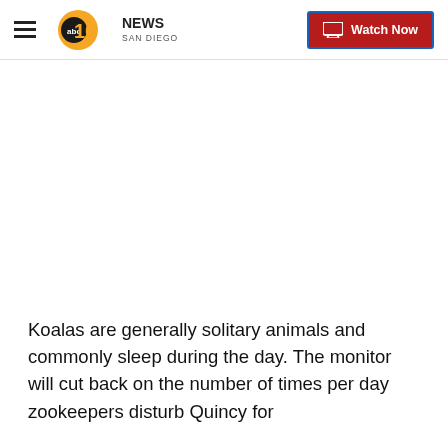10News San Diego — Watch Now
[Figure (other): Blank video embed placeholder area]
Koalas are generally solitary animals and commonly sleep during the day. The monitor will cut back on the number of times per day zookeepers disturb Quincy for